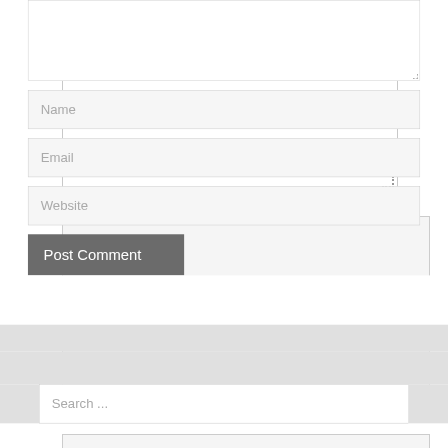[Figure (screenshot): A comment form with a large textarea at top (partially shown), followed by Name, Email, and Website input fields, a Post Comment button, a gray footer bar, and a Search input field at the bottom.]